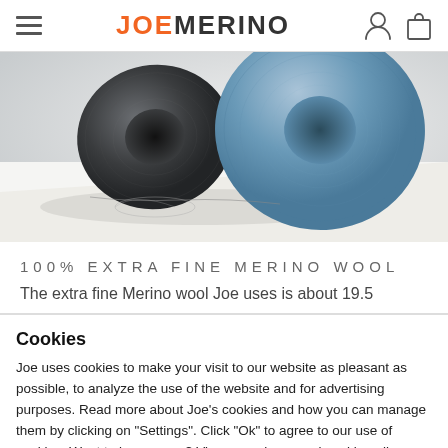JOE MERINO
[Figure (photo): Two spools of merino wool yarn on a white surface — one dark grey/charcoal and one light blue — with loose thread trailing off to the side.]
100% EXTRA FINE MERINO WOOL
The extra fine Merino wool Joe uses is about 19.5
Cookies
Joe uses cookies to make your visit to our website as pleasant as possible, to analyze the use of the website and for advertising purposes. Read more about Joe's cookies and how you can manage them by clicking on "Settings". Click "Ok" to agree to our use of cookies. Want to know more? View our privacy and cookie policy.
OK
Settings